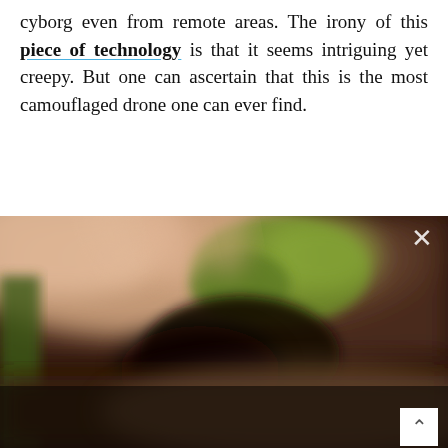...this gives the operator the freedom to control the cyborg even from remote areas. The irony of this piece of technology is that it seems intriguing yet creepy. But one can ascertain that this is the most camouflaged drone one can ever find.
[Figure (photo): Close-up blurry photo of what appears to be a dragonfly or insect drone resting on green foliage/plant material, with muted brown, green and dark tones. A close-up button (X) and scroll-up arrow are overlaid.]